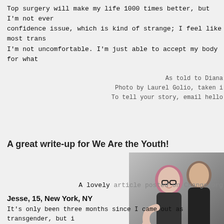Top surgery will make my life 1000 times better, but I'm not even confidence issue, which is kind of strange; I feel like most trans I'm not uncomfortable. I'm just able to accept my body for what
As told to Diana
Photo by Laurel Golio, taken i
To tell your story, email hello
A great write-up for We Are the Youth!
[Figure (photo): Two young people smiling, one with pink hair and glasses giving thumbs up, the other standing behind]
A lovely article posted on Change.org
Jesse, 15, New York, NY
It's only been three months since I came out as transgender, but i male pronouns for myself and was really adamant about it. But th went to a transgender meet-up group a few months ago and talke